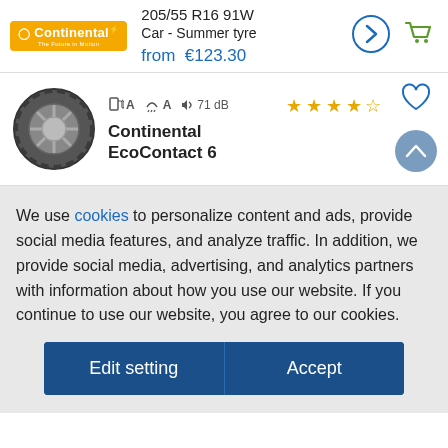[Figure (logo): Continental logo - orange/yellow rectangle with white Continental text and lightning bolt, 'The Future in Motion' tagline]
205/55 R16 91W
Car - Summer tyre
from €123.30
[Figure (illustration): Navigation arrow icon (right chevron in blue circle)]
[Figure (illustration): Green shopping cart icon]
[Figure (photo): Continental tire product photo]
A   A   71 dB
[Figure (illustration): 4 out of 5 stars rating in gold/orange]
Continental EcoContact 6
[Figure (illustration): Heart/favorite icon outline]
[Figure (illustration): Up arrow in steel blue circle]
We use cookies to personalize content and ads, provide social media features, and analyze traffic. In addition, we provide social media, advertising, and analytics partners with information about how you use our website. If you continue to use our website, you agree to our cookies.
Edit setting   Accept